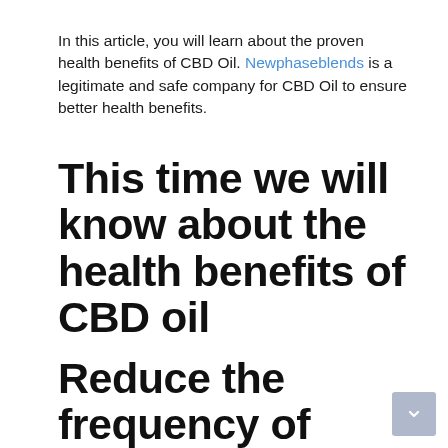In this article, you will learn about the proven health benefits of CBD Oil. Newphaseblends is a legitimate and safe company for CBD Oil to ensure better health benefits.
This time we will know about the health benefits of CBD oil
Reduce the frequency of epilepsy